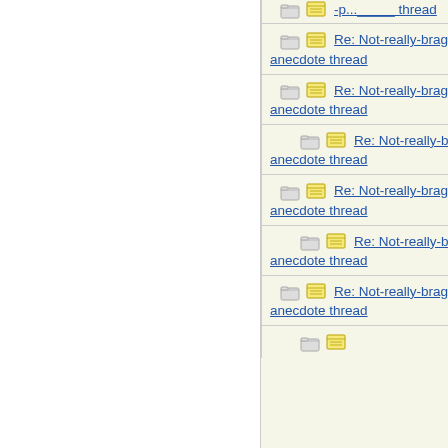| Subject | Author |
| --- | --- |
| Re: Not-really-brag-so-much-as-quirky-anecdote thread | kelly0523 |
| Re: Not-really-brag-so-much-as-quirky-anecdote thread | HowlerKa |
| Re: Not-really-brag-so-much-as-quirky-anecdote thread | kelly0523 |
| Re: Not-really-brag-so-much-as-quirky-anecdote thread | ultramarin |
| Re: Not-really-brag-so-much-as-quirky-anecdote thread | AvoCado |
| Re: Not-really-brag-so-much-as-quirky-anecdote thread | Dude |